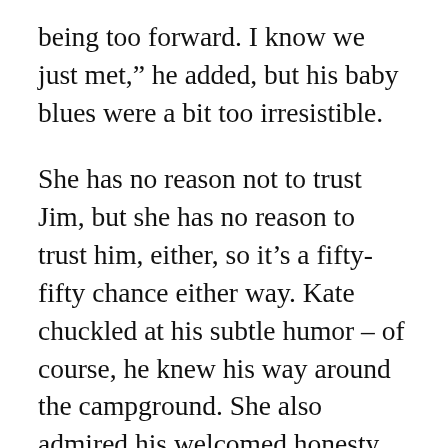being too forward. I know we just met," he added, but his baby blues were a bit too irresistible.
She has no reason not to trust Jim, but she has no reason to trust him, either, so it's a fifty-fifty chance either way. Kate chuckled at his subtle humor – of course, he knew his way around the campground. She also admired his welcomed honesty, not to mention again, her interest was surely piqued by this sudden attraction. Her messy mind deserved some good company and an interesting distraction from the rocky road ahead. After getting the green light from